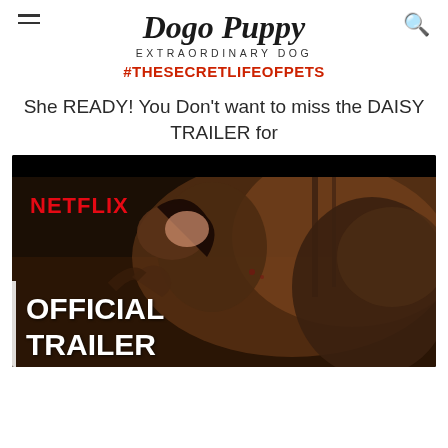Dogo Puppy — EXTRAORDINARY DOG
#THESECRETLIFEOFPETS
She READY! You Don't want to miss the DAISY TRAILER for
[Figure (screenshot): Netflix official trailer screenshot showing a dramatic scene with people, with NETFLIX logo in red at top left and 'OFFICIAL TRAILER' text in white at bottom left]